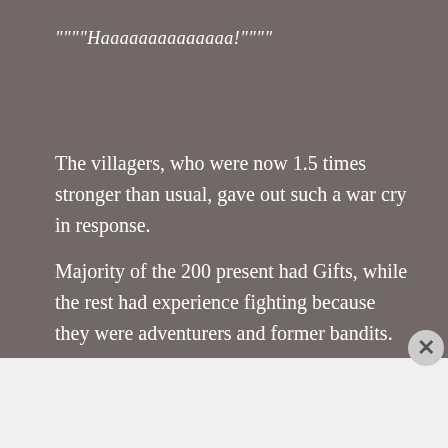""""Haaaaaaaaaaaaaa!""""
The villagers, who were now 1.5 times stronger than usual, gave out such a war cry in response.
Majority of the 200 present had Gifts, while the rest had experience fighting because they were adventurers and former bandits.
Advertisements
[Figure (other): Macy's advertisement banner: KISS BORING LIPS GOODBYE with SHOP NOW button and macys star logo on dark red background]